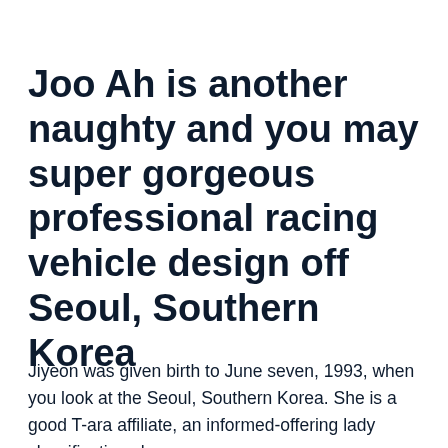Joo Ah is another naughty and you may super gorgeous professional racing vehicle design off Seoul, Southern Korea
Jiyeon was given birth to June seven, 1993, when you look at the Seoul, Southern Korea. She is a good T-ara affiliate, an informed-offering lady classification she